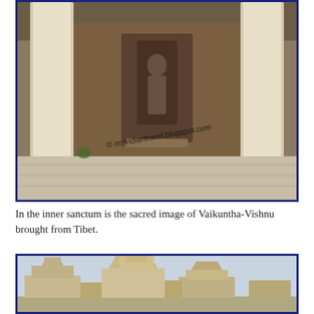[Figure (photo): Interior of a temple with tall white stone columns and a shrine niche in the back wall containing a carved figure. Stone flooring and ceiling visible. Watermark: © myindiantravel.blogspot.com]
In the inner sanctum is the sacred image of Vaikuntha-Vishnu brought from Tibet.
[Figure (photo): Exterior view of an ancient Indian temple complex with ornate shikhara towers against a light sky.]